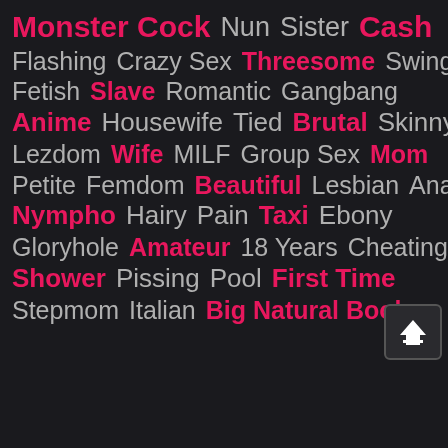Monster Cock  Nun  Sister  Cash
Flashing  Crazy Sex  Threesome  Swingers
Fetish  Slave  Romantic  Gangbang
Anime  Housewife  Tied  Brutal  Skinny
Lezdom  Wife  MILF  Group Sex  Mom
Petite  Femdom  Beautiful  Lesbian  Anal
Nympho  Hairy  Pain  Taxi  Ebony
Gloryhole  Amateur  18 Years  Cheating
Shower  Pissing  Pool  First Time
Stepmom  Italian  Big Natural Boobs